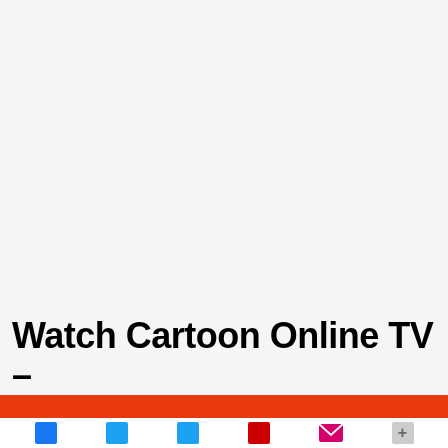Watch Cartoon Online TV –
[Figure (infographic): Orange horizontal bar at bottom of page, followed by a browser-like bottom toolbar with social sharing icons: Facebook (blue), Twitter (light blue), another Twitter/share icon (light blue), a red icon, a magenta email envelope icon, and a gray plus button.]